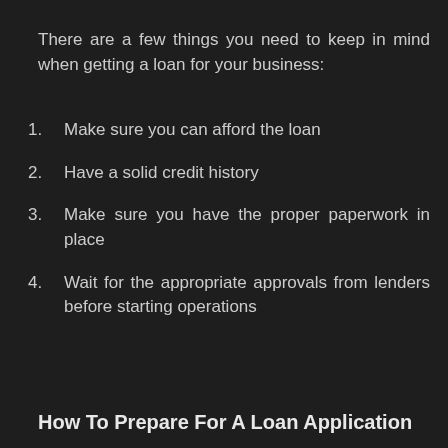There are a few things you need to keep in mind when getting a loan for your business:
Make sure you can afford the loan
Have a solid credit history
Make sure you have the proper paperwork in place
Wait for the appropriate approvals from lenders before starting operations
How To Prepare For A Loan Application